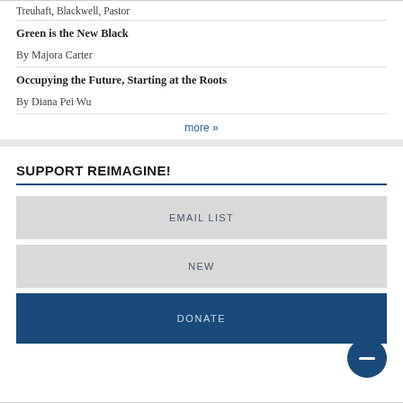Treuhaft, Blackwell, Pastor
Green is the New Black
By Majora Carter
Occupying the Future, Starting at the Roots
By Diana Pei Wu
more »
SUPPORT REIMAGINE!
EMAIL LIST
NEW
DONATE